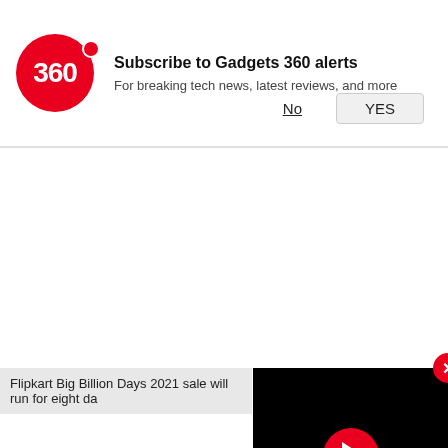[Figure (screenshot): Gadgets 360 notification prompt with red circular logo showing '360', title 'Subscribe to Gadgets 360 alerts', subtitle 'For breaking tech news, latest reviews, and more', with 'No' and 'YES' buttons]
Flipkart Big Billion Days 2021 sale will run for eight da
[Figure (screenshot): Black video player overlay with red play button circle and red close (X) button]
[Figure (infographic): Social sharing icons row: WhatsApp (green), Facebook (blue), Twitter (light blue), Snapchat (yellow), scroll-up (grey)]
Flipkart Big Billion Days sale will now take on the